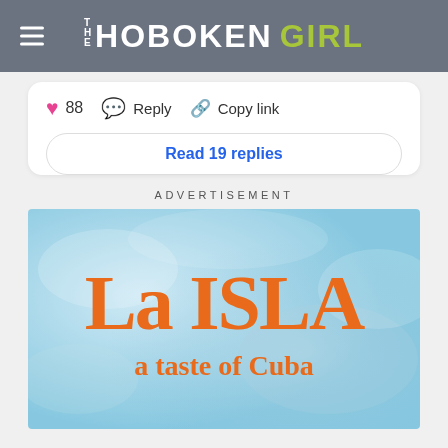THE HOBOKEN GIRL
❤ 88   💬 Reply   🔗 Copy link
Read 19 replies
ADVERTISEMENT
[Figure (logo): La ISLA a taste of Cuba restaurant advertisement on light blue watercolor background with orange bold serif text]